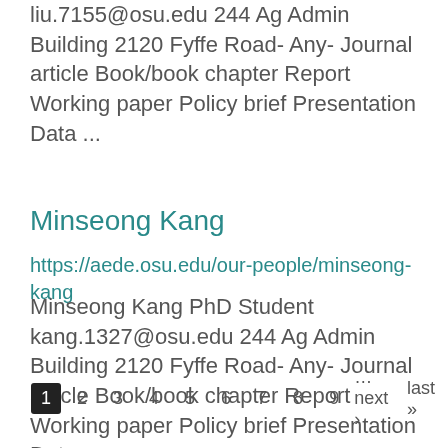liu.7155@osu.edu 244 Ag Admin Building 2120 Fyffe Road- Any- Journal article Book/book chapter Report Working paper Policy brief Presentation Data ...
Minseong Kang
https://aede.osu.edu/our-people/minseong-kang
Minseong Kang PhD Student kang.1327@osu.edu 244 Ag Admin Building 2120 Fyffe Road- Any- Journal article Book/book chapter Report Working paper Policy brief Presentation Data ...
1 2 3 4 5 6 7 8 9 …next › last »